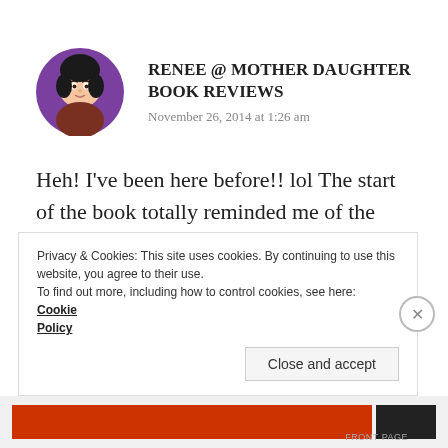RENEE @ MOTHER DAUGHTER BOOK REVIEWS
November 26, 2014 at 1:26 am
Heh! I've been here before!! lol The start of the book totally reminded me of the Breakfast Club as well in terms of the mix of
Privacy & Cookies: This site uses cookies. By continuing to use this website, you agree to their use.
To find out more, including how to control cookies, see here: Cookie Policy
Close and accept